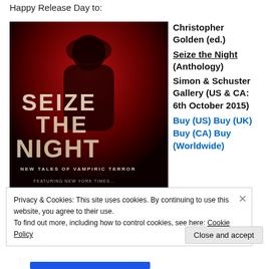Happy Release Day to:
[Figure (photo): Book cover of 'Seize the Night – New Tales of Vampiric Terror', featuring a hooded figure against a dark red background with large distressed text.]
Christopher Golden (ed.)
Seize the Night (Anthology)
Simon & Schuster Gallery (US & CA: 6th October 2015)
Buy (US) Buy (UK)
Buy (CA) Buy (Worldwide)
Privacy & Cookies: This site uses cookies. By continuing to use this website, you agree to their use.
To find out more, including how to control cookies, see here: Cookie Policy